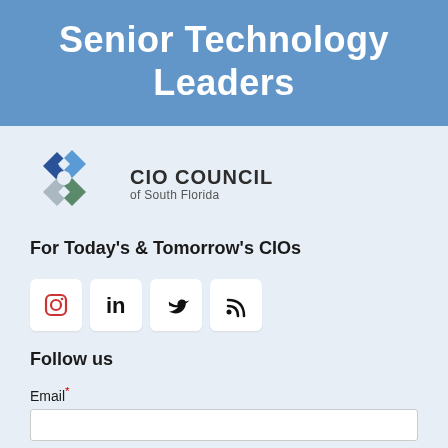Senior Technology Leaders
[Figure (logo): CIO Council of South Florida logo with puzzle-piece icon in dark blue, light blue, and gray/green colors]
For Today's & Tomorrow's CIOs
[Figure (infographic): Social media icons row: Instagram, LinkedIn, Twitter, RSS feed]
Follow us
Email*